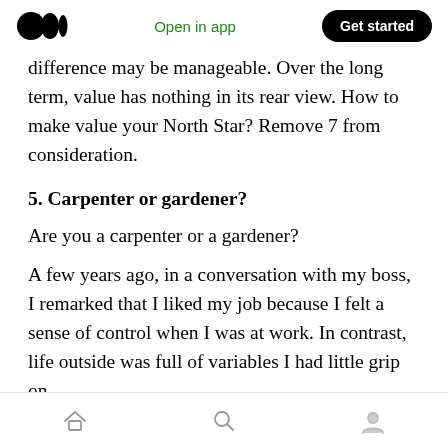Open in app | Get started
difference may be manageable. Over the long term, value has nothing in its rear view. How to make value your North Star? Remove 7 from consideration.
5. Carpenter or gardener?
Are you a carpenter or a gardener?
A few years ago, in a conversation with my boss, I remarked that I liked my job because I felt a sense of control when I was at work. In contrast, life outside was full of variables I had little grip on.
Home | Search | Profile